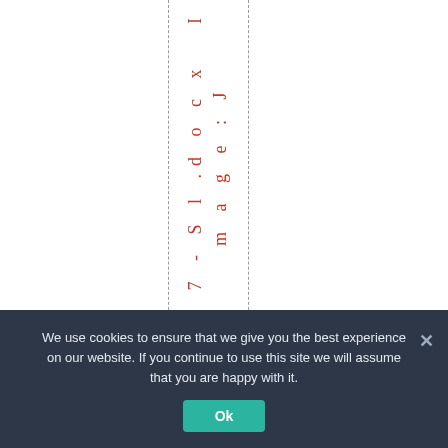[Figure (screenshot): Document viewer page showing vertical red text reading '7 7 - S l . d o c x  I m a g e : J' rotated vertically in the center column, flanked by dashed vertical guide lines on a white background.]
We use cookies to ensure that we give you the best experience on our website. If you continue to use this site we will assume that you are happy with it.
Ok